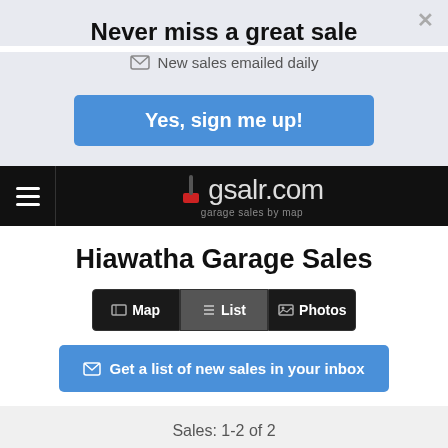Never miss a great sale
New sales emailed daily
Yes, sign me up!
[Figure (screenshot): Navigation bar with hamburger menu and gsalr.com logo with subtitle 'garage sales by map']
Hiawatha Garage Sales
Map  List  Photos
Get a list of new sales in your inbox
Sales: 1-2 of 2